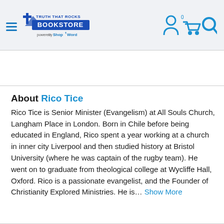[Figure (logo): Truth That Rocks Bookstore logo with cross icon and 'powered by ShopTheWord' text]
[Figure (other): Header icons: user account icon, shopping cart with 0 badge, and search icon in blue]
About Rico Tice
Rico Tice is Senior Minister (Evangelism) at All Souls Church, Langham Place in London. Born in Chile before being educated in England, Rico spent a year working at a church in inner city Liverpool and then studied history at Bristol University (where he was captain of the rugby team). He went on to graduate from theological college at Wycliffe Hall, Oxford. Rico is a passionate evangelist, and the Founder of Christianity Explored Ministries. He is… Show More